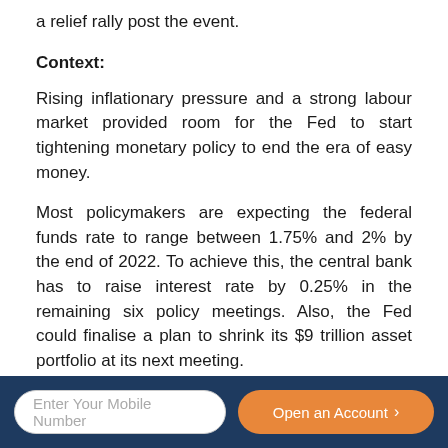a relief rally post the event.
Context:
Rising inflationary pressure and a strong labour market provided room for the Fed to start tightening monetary policy to end the era of easy money.
Most policymakers are expecting the federal funds rate to range between 1.75% and 2% by the end of 2022. To achieve this, the central bank has to raise interest rate by 0.25% in the remaining six policy meetings. Also, the Fed could finalise a plan to shrink its $9 trillion asset portfolio at its next meeting.
Our Perspective:
Targeting stubbornly high inflation, the Fed has started to